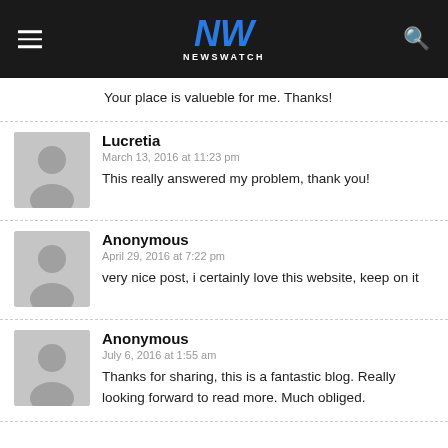NEWSWATCH
Your place is valueble for me. Thanks!
Lucretia
March 13, 2016 at 11:23 pm
This really answered my problem, thank you!
Anonymous
April 29, 2016 at 7:22 pm
very nice post, i certainly love this website, keep on it
Anonymous
July 6, 2016 at 1:55 am
Thanks for sharing, this is a fantastic blog. Really looking forward to read more. Much obliged.